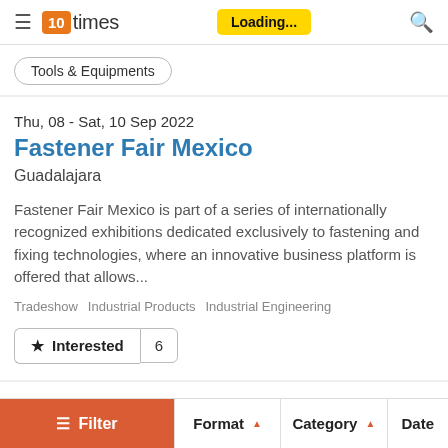10times — Loading...
Tools & Equipments
Thu, 08 - Sat, 10 Sep 2022
Fastener Fair Mexico
Guadalajara
Fastener Fair Mexico is part of a series of internationally recognized exhibitions dedicated exclusively to fastening and fixing technologies, where an innovative business platform is offered that allows...
Tradeshow   Industrial Products   Industrial Engineering
★ Interested   6
Filter   Format   Category   Date